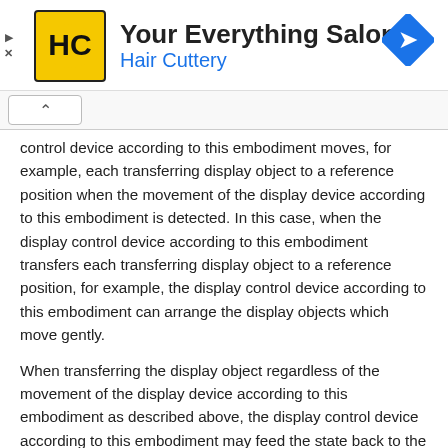[Figure (other): Advertisement banner for Hair Cuttery salon with logo, title 'Your Everything Salon', subtitle 'Hair Cuttery', and a blue navigation arrow icon]
control device according to this embodiment moves, for example, each transferring display object to a reference position when the movement of the display device according to this embodiment is detected. In this case, when the display control device according to this embodiment transfers each transferring display object to a reference position, for example, the display control device according to this embodiment can arrange the display objects which move gently.
When transferring the display object regardless of the movement of the display device according to this embodiment as described above, the display control device according to this embodiment may feed the state back to the user by, for example, outputting a sound (including music) when the movement of the display device according to this embodiment is detected.
FIG. 16 is an illustrative diagram illustrating the tenth example of the display control process according to this embodiment in the display control device according to this embodiment. FIG. 16 shows an example of the display control process related to the expression in which, when the movement of